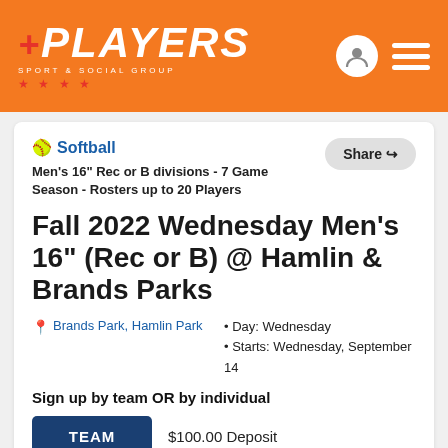PLAYERS SPORT & SOCIAL GROUP
Softball
Men's 16" Rec or B divisions - 7 Game Season - Rosters up to 20 Players
Fall 2022 Wednesday Men's 16" (Rec or B) @ Hamlin & Brands Parks
Brands Park, Hamlin Park
• Day: Wednesday
• Starts: Wednesday, September 14
Sign up by team OR by individual
TEAM   $100.00 Deposit
Total: $1,299.00